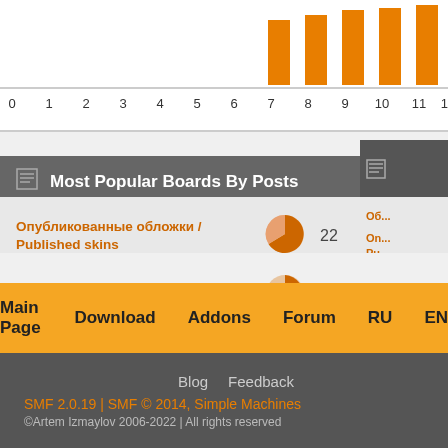[Figure (bar-chart): Posts by hour (partial)]
Most Popular Boards By Posts
Опубликованные обложки / Published skins — 22
Обложки / Skins — 7
Обложки в стадии разработки / Skins in the development stage — 1
Main Page  Download  Addons  Forum  RU  EN
Blog  Feedback
SMF 2.0.19 | SMF © 2014, Simple Machines
©Artem Izmaylov 2006-2022 | All rights reserved